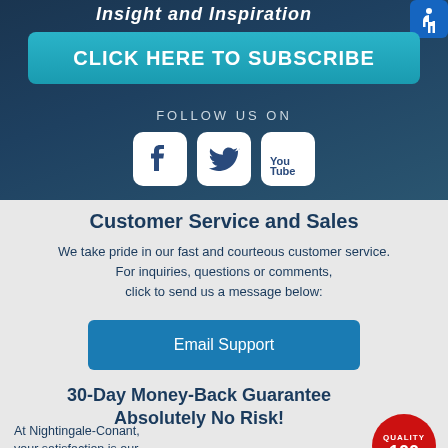Insight and Inspiration
CLICK HERE TO SUBSCRIBE
FOLLOW US ON
[Figure (infographic): Facebook, Twitter, and YouTube social media icons in white rounded square boxes on dark blue background]
Customer Service and Sales
We take pride in our fast and courteous customer service. For inquiries, questions or comments, click to send us a message below:
Email Support
30-Day Money-Back Guarantee Absolutely No Risk!
At Nightingale-Conant, your satisfaction is our
[Figure (logo): Red circular quality guarantee badge with '100' at bottom]